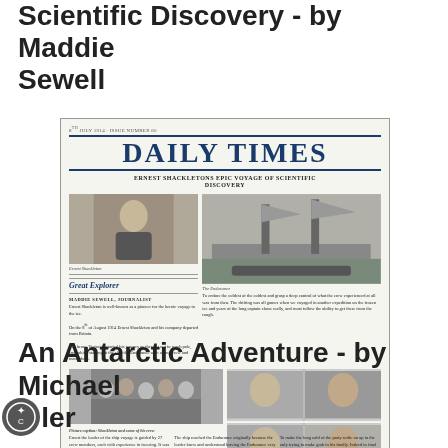Scientific Discovery - by Maddie Sewell
[Figure (photo): A student-created newspaper front page titled 'DAILY TIMES' featuring 'Ernest Shackleton's Epic Voyage of Scientific Discovery'. Includes portrait photo of Shackleton, ship photo, crew group photo, and multiple small portrait photos. Text columns with body copy and byline 'MADDIE SEWELL, JOURNALIST'. Section heading 'Great Explorer'.]
An Antarctic Adventure - by Michael [Fowler]